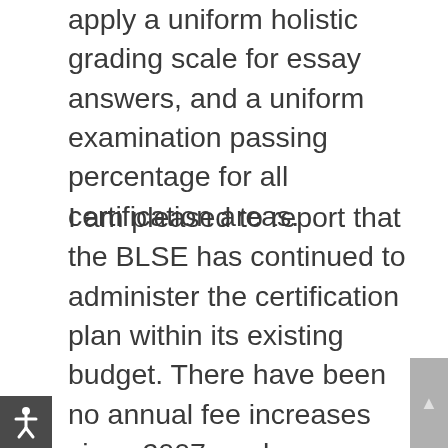apply a uniform holistic grading scale for essay answers, and a uniform examination passing percentage for all certification areas.
I am pleased to report that the BLSE has continued to administer the certification plan within its existing budget. There have been no annual fee increases since 2007, and no imminent increase is anticipated. Despite the recent court decision, which allowed a lawyer to advertise that he or she is a specialist in a practice area even though he or she is not board certified, the number of applications for certification and recertification remain steady. I believe this is a recognition of the value of board certification by lawyers and the public alike as the best objective source of identifying lawyers